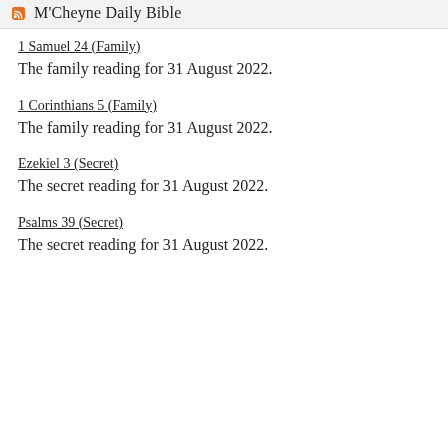M'Cheyne Daily Bible
1 Samuel 24 (Family)
The family reading for 31 August 2022.
1 Corinthians 5 (Family)
The family reading for 31 August 2022.
Ezekiel 3 (Secret)
The secret reading for 31 August 2022.
Psalms 39 (Secret)
The secret reading for 31 August 2022.